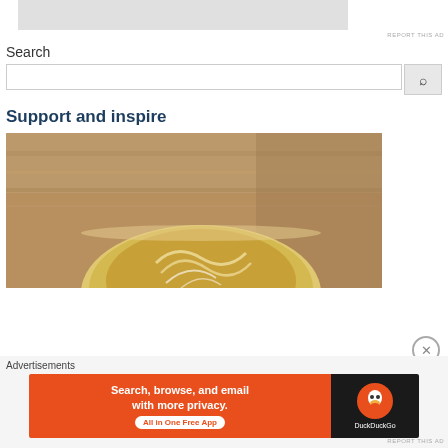[Figure (other): Gray advertisement banner placeholder at top]
REPORT THIS AD
Search
[Figure (other): Search bar with text input and search button (magnifying glass icon)]
Support and inspire
[Figure (photo): Close-up photo of a latte art coffee cup on a wooden surface]
Advertisements
[Figure (other): DuckDuckGo advertisement banner: Search, browse, and email with more privacy. All in One Free App]